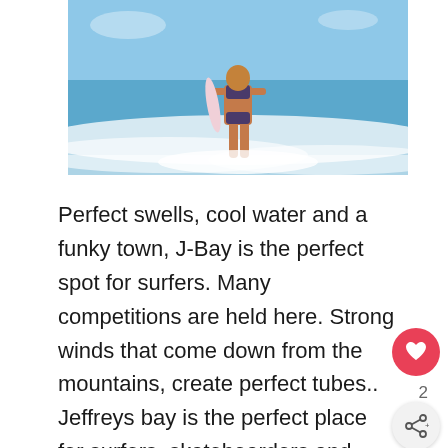[Figure (photo): A woman in a bikini carrying a surfboard walking out of the ocean with waves splashing around her.]
Perfect swells, cool water and a funky town, J-Bay is the perfect spot for surfers. Many competitions are held here. Strong winds that come down from the mountains, create perfect tubes.. Jeffreys bay is the perfect place for surfers, skateboarders and anyone who enjoys extreme sport. Bring the best surfboard to partake in the fun. There are also many shops in the town that sell name brand surf wear.